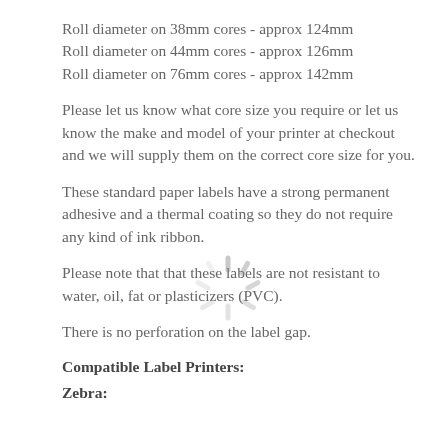Roll diameter on 38mm cores - approx 124mm
Roll diameter on 44mm cores - approx 126mm
Roll diameter on 76mm cores - approx 142mm
Please let us know what core size you require or let us know the make and model of your printer at checkout and we will supply them on the correct core size for you.
These standard paper labels have a strong permanent adhesive and a thermal coating so they do not require any kind of ink ribbon.
Please note that that these labels are not resistant to water, oil, fat or plasticizers (PVC).
There is no perforation on the label gap.
Compatible Label Printers:
Zebra: